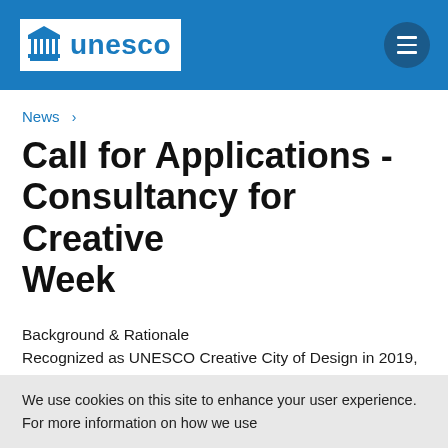UNESCO
News >
Call for Applications - Consultancy for Creative Week
Background & Rationale
Recognized as UNESCO Creative City of Design in 2019, Ha Noi has committed to place its creativity at the core of it...
We use cookies on this site to enhance your user experience. For more information on how we use